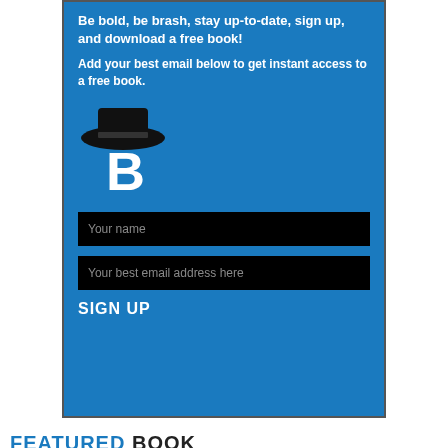Be bold, be brash, stay up-to-date, sign up, and download a free book!
Add your best email below to get instant access to a free book.
[Figure (logo): Logo with a black hat on top of a white letter B on blue background]
Your name
Your best email address here
SIGN UP
FEATURED BOOK
BARBARA NEELY
Blanche